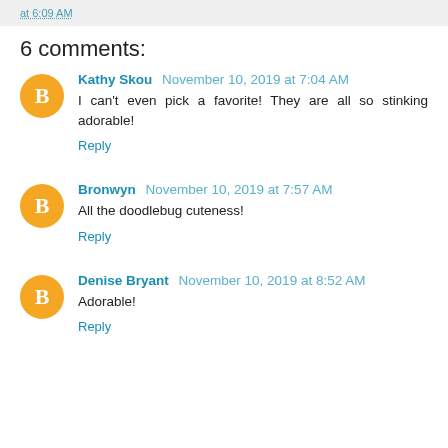at 6:09 AM
6 comments:
Kathy Skou November 10, 2019 at 7:04 AM
I can't even pick a favorite! They are all so stinking adorable!
Reply
Bronwyn November 10, 2019 at 7:57 AM
All the doodlebug cuteness!
Reply
Denise Bryant November 10, 2019 at 8:52 AM
Adorable!
Reply